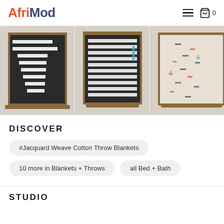AfriMod
[Figure (photo): Three woven cotton throw blankets displayed side by side. First two have dark backgrounds with horizontal white stripes, third has a light/cream background with small geometric patterns. All have fringed edges.]
DISCOVER
#Jacquard Weave Cotton Throw Blankets
10 more in Blankets + Throws
all Bed + Bath
STUDIO